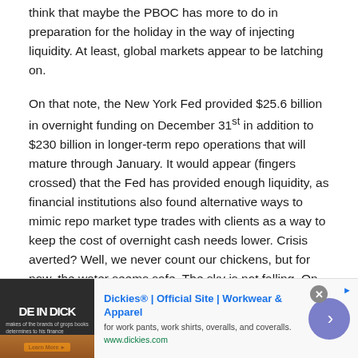think that maybe the PBOC has more to do in preparation for the holiday in the way of injecting liquidity. At least, global markets appear to be latching on.
On that note, the New York Fed provided $25.6 billion in overnight funding on December 31st in addition to $230 billion in longer-term repo operations that will mature through January. It would appear (fingers crossed) that the Fed has provided enough liquidity, as financial institutions also found alternative ways to mimic repo market type trades with clients as a way to keep the cost of overnight cash needs lower. Crisis averted? Well, we never count our chickens, but for now, the water seems safe. The sky is not falling. On to the taper tantrum. Oh yeah.
What Makes Sense?
[Figure (other): Advertisement banner for Dickies Official Site - Workwear & Apparel. Shows Dickies product image on left, ad title 'Dickies® | Official Site | Workwear & Apparel', subtext 'for work pants, work shirts, overalls, and coveralls.', URL 'www.dickies.com', close button, AdChoices icon, and navigation arrow button.]